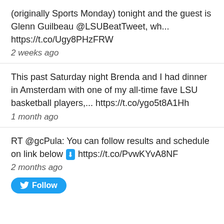(originally Sports Monday) tonight and the guest is Glenn Guilbeau @LSUBeatTweet, wh... https://t.co/Ugy8PHzFRW
2 weeks ago
This past Saturday night Brenda and I had dinner in Amsterdam with one of my all-time fave LSU basketball players,... https://t.co/ygo5t8A1Hh
1 month ago
RT @gcPula: You can follow results and schedule on link below 👇 https://t.co/PvwKYvA8NF
2 months ago
Follow